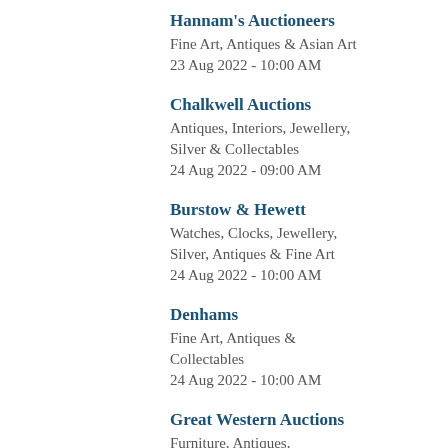Hannam's Auctioneers
Fine Art, Antiques & Asian Art
23 Aug 2022 - 10:00 AM
Chalkwell Auctions
Antiques, Interiors, Jewellery, Silver & Collectables
24 Aug 2022 - 09:00 AM
Burstow & Hewett
Watches, Clocks, Jewellery, Silver, Antiques & Fine Art
24 Aug 2022 - 10:00 AM
Denhams
Fine Art, Antiques & Collectables
24 Aug 2022 - 10:00 AM
Great Western Auctions
Furniture, Antiques, Collectables & Art